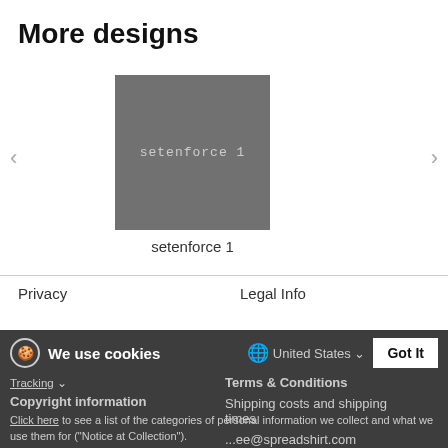More designs
[Figure (screenshot): Product thumbnail — grey square with 'setenforce 1' text in monospace]
setenforce 1
Privacy
Legal Info
We use cookies
United States
Click here to see a list of the categories of personal information we collect and what we use them for ("Notice at Collection").
Copyright information
Terms & Conditions
Privacy Policy
Do Not Sell My Personal Information
Shipping costs and shipping times
...ee@spreadshirt.com
By using this website, I agree to the Terms and Conditions